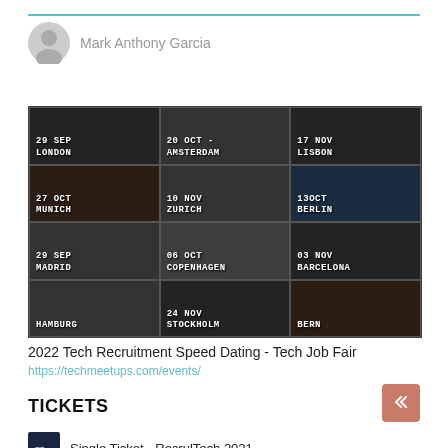Mark Anthony Garcia
[Figure (photo): Event grid showing 2022 Tech Recruitment Speed Dating - Tech Job Fair locations: 29 Sep London, 20 Oct Amsterdam, 17 Nov Lisbon, 27 Oct Munich, 10 Nov Zurich, 13 Oct Berlin, 29 Sep Madrid, 06 Oct Copenhagen, 03 Nov Barcelona, Hamburg, 24 Nov Stockholm, Bern]
2022 Tech Recruitment Speed Dating - Tech Job Fair
https://techmeetups.com/events/
TICKETS
Single Ticket - RecrulTech 2021